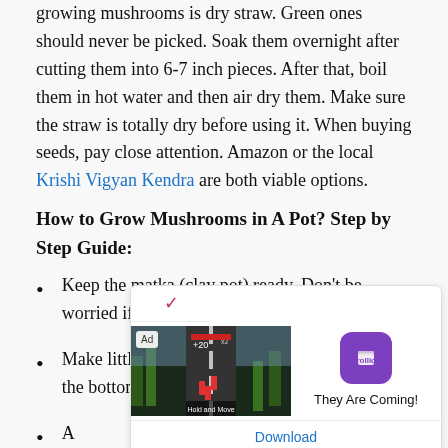growing mushrooms is dry straw. Green ones should never be picked. Soak them overnight after cutting them into 6-7 inch pieces. After that, boil them in hot water and then air dry them. Make sure the straw is totally dry before using it. When buying seeds, pay close attention. Amazon or the local Krishi Vigyan Kendra are both viable options.
How to Grow Mushrooms in A Pot? Step by Step Guide:
Keep the matka (clay pot) ready. Don't be worried if it's cracked or has holes.
Make little holes all around the pot, including the bottom, with a drilling machine.
A
[Figure (screenshot): Advertisement banner for 'They Are Coming!' game app by Rollic, with a game screenshot and download button.]